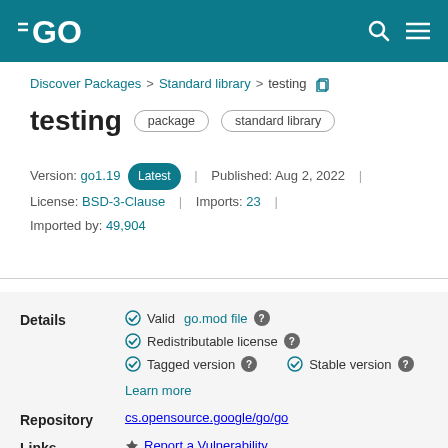GO
Discover Packages > Standard library > testing
testing  package  standard library
Version: go1.19 Latest | Published: Aug 2, 2022 | License: BSD-3-Clause | Imports: 23 | Imported by: 49,904
Details
Valid go.mod file  Redistributable license  Tagged version  Stable version  Learn more
Repository  cs.opensource.google/go/go
Links  Report a Vulnerability